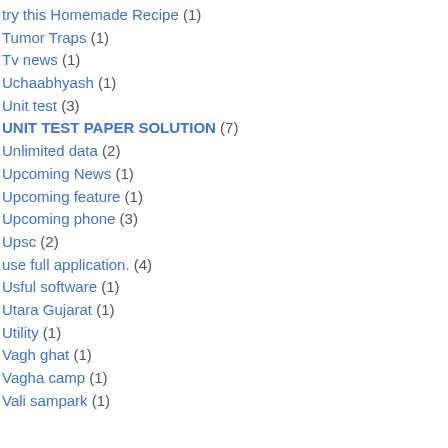try this Homemade Recipe (1)
Tumor Traps (1)
Tv news (1)
Uchaabhyash (1)
Unit test (3)
UNIT TEST PAPER SOLUTION (7)
Unlimited data (2)
Upcoming News (1)
Upcoming feature (1)
Upcoming phone (3)
Upsc (2)
use full application. (4)
Usful software (1)
Utara Gujarat (1)
Utility (1)
Vagh ghat (1)
Vagha camp (1)
Vali sampark (1)